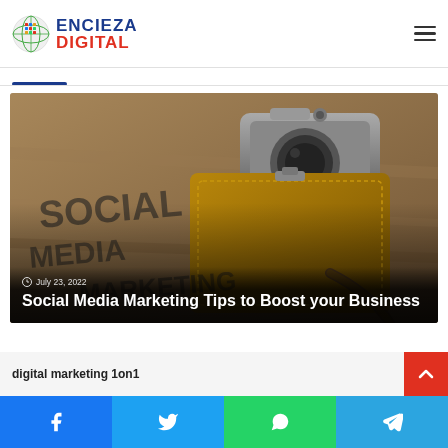[Figure (logo): Encieza Digital logo with globe icon, blue 'ENCIEZA' and red 'DIGITAL' text]
Featured Posts
[Figure (photo): Photo of a camera and leather bag on surface with text 'SOCIAL MEDIA MARKETING' visible]
July 23, 2022
Social Media Marketing Tips to Boost your Business
digital marketing 1on1
[Figure (infographic): Social share buttons: Facebook, Twitter, WhatsApp, Telegram]